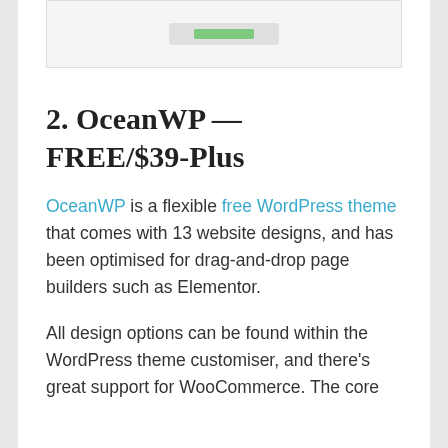[Figure (screenshot): Partial screenshot of a website or UI element at the top of the page, showing a grey box with a small green bar element inside.]
2. OceanWP — FREE/$39-Plus
OceanWP is a flexible free WordPress theme that comes with 13 website designs, and has been optimised for drag-and-drop page builders such as Elementor.
All design options can be found within the WordPress theme customiser, and there's great support for WooCommerce. The core